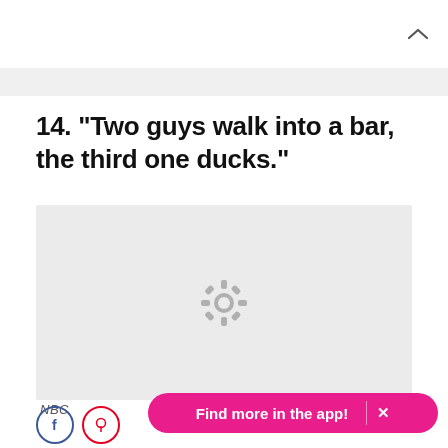[Figure (other): Top navigation bar with upward chevron arrow on the right side]
14. "Two guys walk into a bar, the third one ducks."
[Figure (photo): Gray placeholder image box with a loading/gear spinner icon in the center]
NBC
[Figure (other): Pink rounded button with text 'Find more in the app!' and an X close button, plus Facebook and Pinterest social share icons]